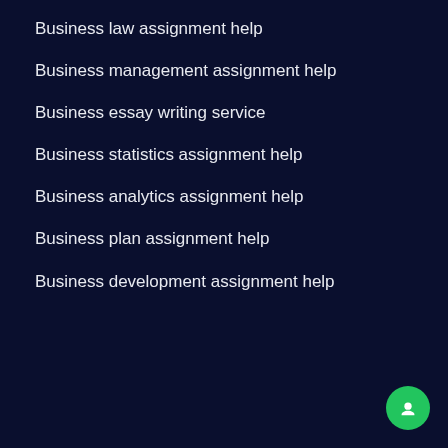Business law assignment help
Business management assignment help
Business essay writing service
Business statistics assignment help
Business analytics assignment help
Business plan assignment help
Business development assignment help